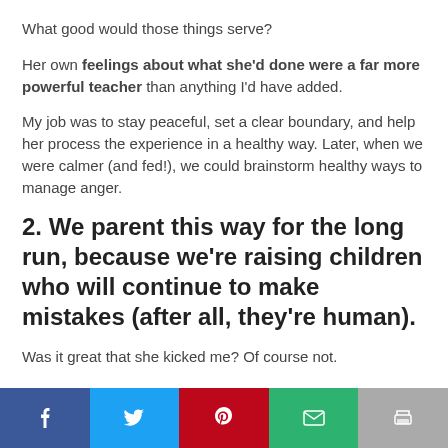What good would those things serve?
Her own feelings about what she'd done were a far more powerful teacher than anything I'd have added.
My job was to stay peaceful, set a clear boundary, and help her process the experience in a healthy way. Later, when we were calmer (and fed!), we could brainstorm healthy ways to manage anger.
2. We parent this way for the long run, because we're raising children who will continue to make mistakes (after all, they're human).
Was it great that she kicked me? Of course not.
[Figure (other): Social sharing bar with Facebook, Twitter, Pinterest, email, and print buttons]